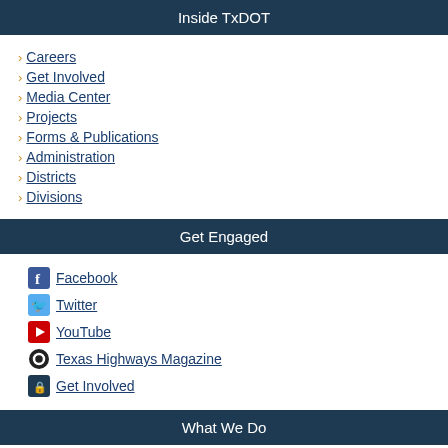Inside TxDOT
Careers
Get Involved
Media Center
Projects
Forms & Publications
Administration
Districts
Divisions
Get Engaged
Facebook
Twitter
YouTube
Texas Highways Magazine
Get Involved
What We Do
Texas.gov
TxTag
MY35.org